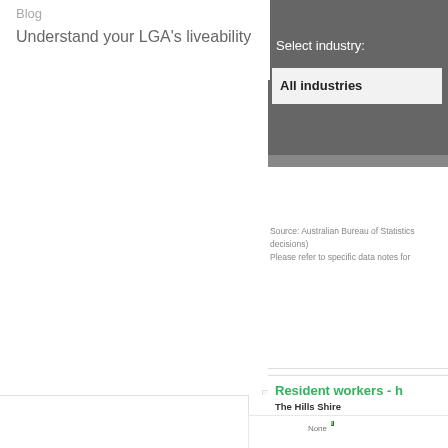Blog
Understand your LGA's liveability
Select industry:
All industries
Source: Australian Bureau of Statistics (decisions) Please refer to specific data notes for
Resident workers - h
The Hills Shire
[Figure (bar-chart): Resident workers - hours worked]